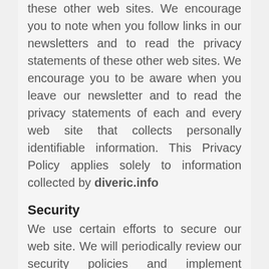these other web sites. We encourage you to note when you follow links in our newsletters and to read the privacy statements of these other web sites. We encourage you to be aware when you leave our newsletter and to read the privacy statements of each and every web site that collects personally identifiable information. This Privacy Policy applies solely to information collected by diveric.info
Security
We use certain efforts to secure our web site. We will periodically review our security policies and implement changes from time to time. However, we cannot and do not